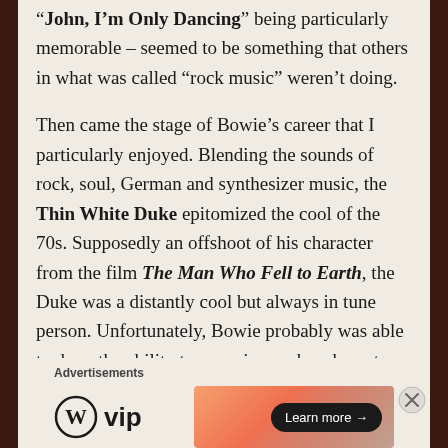“John, I’m Only Dancing” being particularly memorable – seemed to be something that others in what was called “rock music” weren’t doing.
Then came the stage of Bowie’s career that I particularly enjoyed. Blending the sounds of rock, soul, German and synthesizer music, the Thin White Duke epitomized the cool of the 70s. Supposedly an offshoot of his character from the film The Man Who Fell to Earth, the Duke was a distantly cool but always in tune person. Unfortunately, Bowie probably was able to draw the ability to conceive such a character – as I learned later in life – because of massive amounts
Advertisements
[Figure (logo): WordPress VIP logo with circle W icon and 'vip' text]
[Figure (other): Advertisement banner with orange/salmon gradient background and 'Learn more →' button]